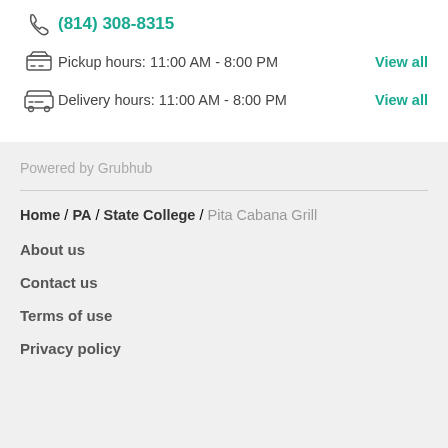(814) 308-8315
Pickup hours: 11:00 AM - 8:00 PM  View all
Delivery hours: 11:00 AM - 8:00 PM  View all
Powered by Grubhub
Home / PA / State College / Pita Cabana Grill
About us
Contact us
Terms of use
Privacy policy